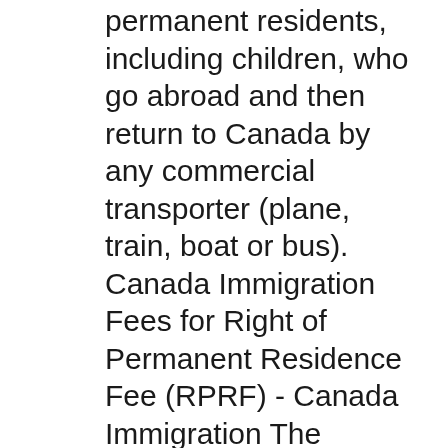permanent residents, including children, who go abroad and then return to Canada by any commercial transporter (plane, train, boat or bus). Canada Immigration Fees for Right of Permanent Residence Fee (RPRF) - Canada Immigration The Application The applicant becomes a permanent resident in Canada;
how to apply for Canada Permanent Resident Visa from India 2018? If you need authentic help for making your application for Canada PR visa, Email id: info@ Thousands of people across the country are stranded without identification as they wait issue a ticket to Canada without a valid permanent